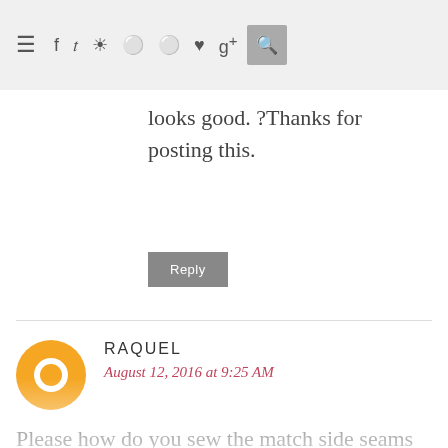Navigation bar with hamburger menu, social icons (f, twitter, instagram, pinterest, pinterest, heart, g+), and search button
sew the side seams. Sorry I must be dense. So far looks good. ?Thanks for posting this.
Reply
RAQUEL
August 12, 2016 at 9:25 AM
Please how do you sew the match side seams together when one is rounded? Is the front supposed to be longer than the back or visa versa. And how do you it hem it when the bottoms are not even?